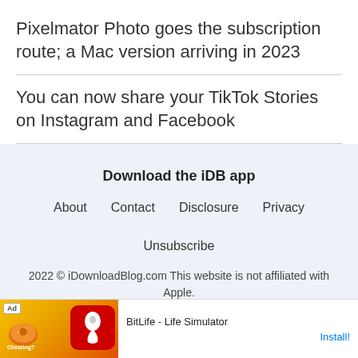Pixelmator Photo goes the subscription route; a Mac version arriving in 2023
You can now share your TikTok Stories on Instagram and Facebook
Download the iDB app
About   Contact   Disclosure   Privacy   Unsubscribe
2022 © iDownloadBlog.com This website is not affiliated with Apple.
[Figure (other): Advertisement banner for BitLife - Life Simulator app with Ad badge, colorful game imagery, and Install button]